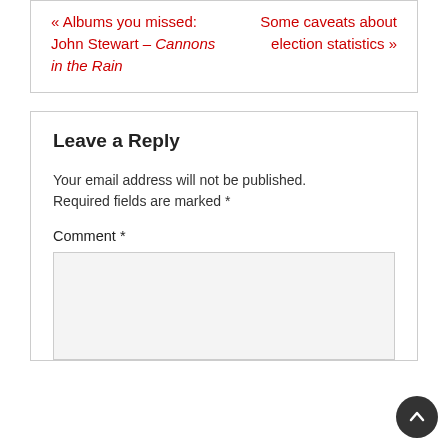« Albums you missed: John Stewart – Cannons in the Rain
Some caveats about election statistics »
Leave a Reply
Your email address will not be published. Required fields are marked *
Comment *